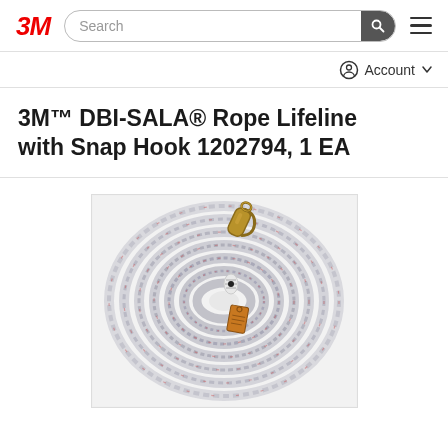3M | Search | Account
3M™ DBI-SALA® Rope Lifeline with Snap Hook 1202794, 1 EA
[Figure (photo): Coiled grey rope lifeline with snap hook and tag, shown from above]